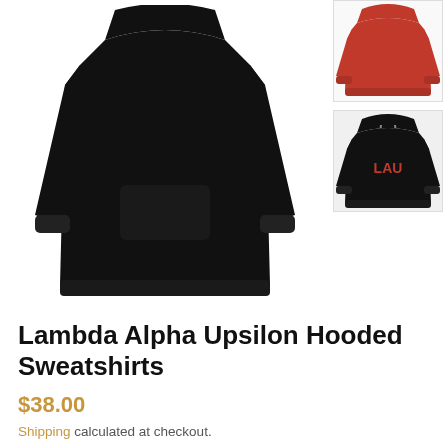[Figure (photo): Main product image of Lambda Alpha Upsilon black hooded sweatshirt displayed flat, full front view with white drawstrings visible at hood]
[Figure (photo): Thumbnail of red hooded sweatshirt variant]
[Figure (photo): Thumbnail of black hooded sweatshirt with LAU lettering on chest]
Lambda Alpha Upsilon Hooded Sweatshirts
$38.00
Shipping calculated at checkout.
Color